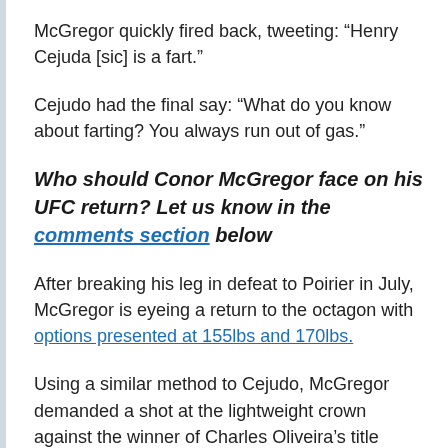McGregor quickly fired back, tweeting: “Henry Cejuda [sic] is a fart.”
Cejudo had the final say: “What do you know about farting? You always run out of gas.”
Who should Conor McGregor face on his UFC return? Let us know in the comments section below
After breaking his leg in defeat to Poirier in July, McGregor is eyeing a return to the octagon with options presented at 155lbs and 170lbs.
Using a similar method to Cejudo, McGregor demanded a shot at the lightweight crown against the winner of Charles Oliveira’s title